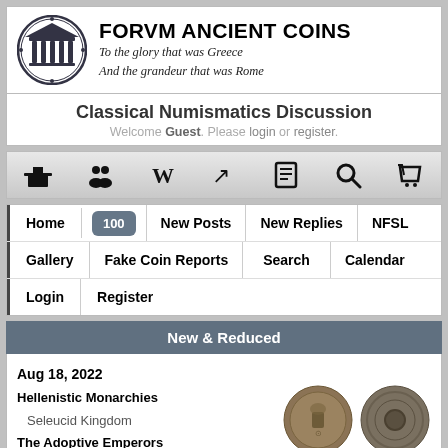FORVM ANCIENT COINS — To the glory that was Greece And the grandeur that was Rome
Classical Numismatics Discussion
Welcome Guest. Please login or register.
[Figure (screenshot): Icon toolbar with 7 icons: home/building, people/users, Wikipedia W, hammer/gavel, book, magnifying glass, shopping cart]
Navigation menu: Home | 100 | New Posts | New Replies | NFSL | Gallery | Fake Coin Reports | Search | Calendar | Login | Register
New & Reduced
Aug 18, 2022
Hellenistic Monarchies
  Seleucid Kingdom
The Adoptive Emperors
  Marcus Aurelius